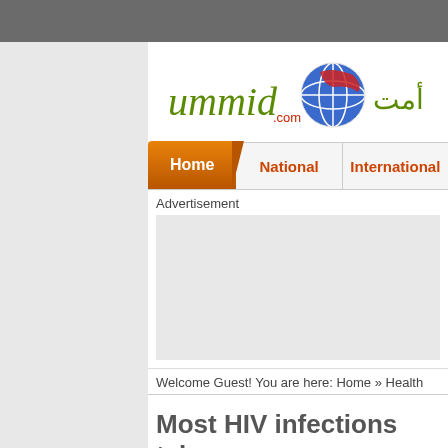[Figure (screenshot): Top gray navigation bar of the ummid.com website]
[Figure (logo): Ummid.com website logo with globe icon and Arabic text]
Home | National | International
Advertisement
Welcome Guest! You are here: Home » Health
Most HIV infections take place in Africa: Report
Thursday July 17, 2014 1:18 AM, IANS